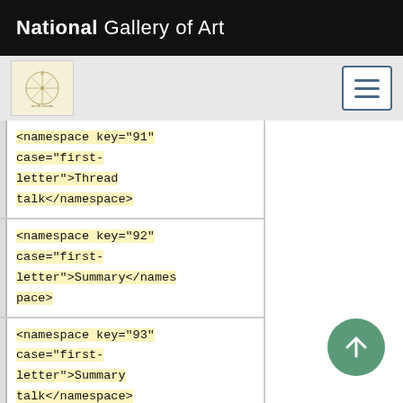National Gallery of Art
[Figure (logo): Art gallery logo with compass rose design in beige box, plus hamburger menu button on right]
<namespace key="91" case="first-letter">Thread talk</namespace>
<namespace key="92" case="first-letter">Summary</namespace>
<namespace key="93" case="first-letter">Summary talk</namespace>
<namespace key="100" case="first-letter">Manual</namespace>
[Figure (other): Green circular back-to-top button with upward arrow]